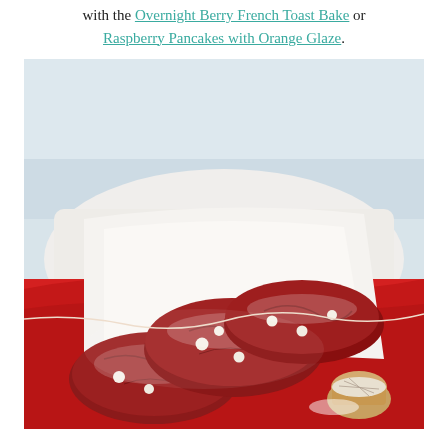with the Overnight Berry French Toast Bake or Raspberry Pancakes with Orange Glaze.
[Figure (photo): Close-up photo of red velvet cookies dusted with powdered sugar and studded with white chocolate chips, stacked on a red cloth with a doily and a small sifter of powdered sugar, on a light gray background.]